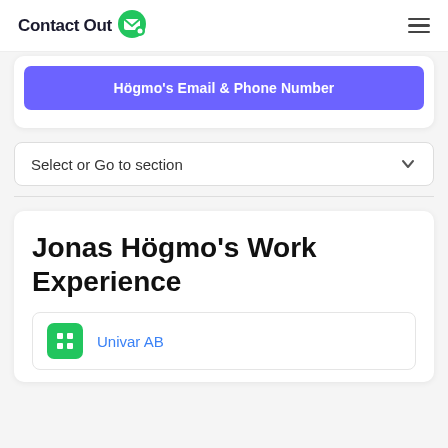ContactOut
Högmo's Email & Phone Number
Select or Go to section
Jonas Högmo's Work Experience
Univar AB